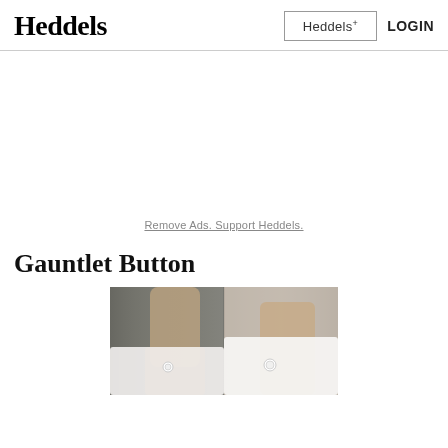Heddels | Heddels+ | LOGIN
Remove Ads. Support Heddels.
Gauntlet Button
[Figure (photo): Close-up photograph of a white dress shirt cuff with gauntlet button visible, split into two panels showing different angles of the cuff area on a person's wrist.]